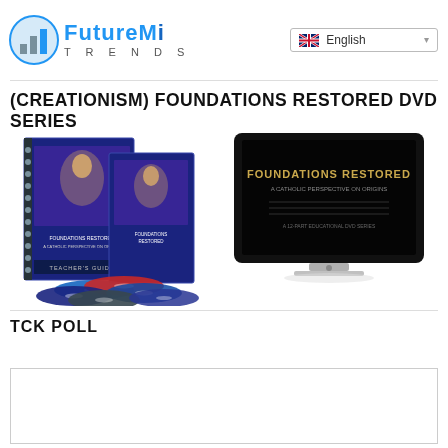FutureMi TRENDS | English
(CREATIONISM) FOUNDATIONS RESTORED DVD SERIES
[Figure (photo): Product photo showing the Foundations Restored: A Catholic Perspective on Origins DVD series, including spiral-bound teacher's guide books, multiple DVDs, and a computer monitor displaying the Foundations Restored title screen.]
TCK POLL